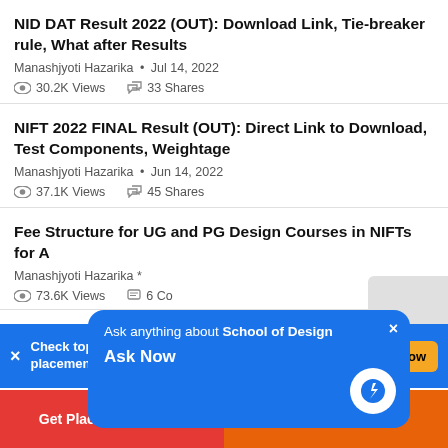NID DAT Result 2022 (OUT): Download Link, Tie-breaker rule, What after Results
Manashjyoti Hazarika · Jul 14, 2022
30.2K Views   33 Shares
NIFT 2022 FINAL Result (OUT): Direct Link to Download, Test Components, Weightage
Manashjyoti Hazarika · Jun 14, 2022
37.1K Views   45 Shares
Fee Structure for UG and PG Design Courses in NIFTs for A
Manashjyoti Hazarika *
73.6K Views   6 Co
[Figure (screenshot): Blue popup overlay: 'Ask anything about School of Design — Ask Now' with lightning bolt icon and close button]
Check top design colleges in your City by fees, placements.
Check Now
Get Placement Report
Brochure